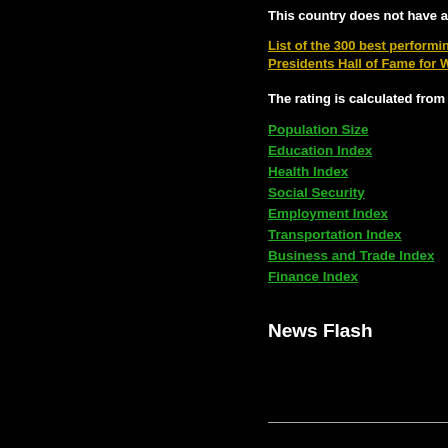This country does not have a p
List of the 300 best performing
Presidents Hall of Fame for Wh
The rating is calculated from m
Population Size
Education Index
Health Index
Social Security
Employment Index
Transportation Index
Business and Trade Index
Finance Index
News Flash